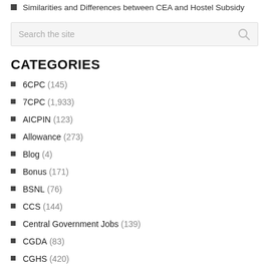Similarities and Differences between CEA and Hostel Subsidy
CATEGORIES
6CPC (145)
7CPC (1,933)
AICPIN (123)
Allowance (273)
Blog (4)
Bonus (171)
BSNL (76)
CCS (144)
Central Government Jobs (139)
CGDA (83)
CGHS (420)
CPSE (45)